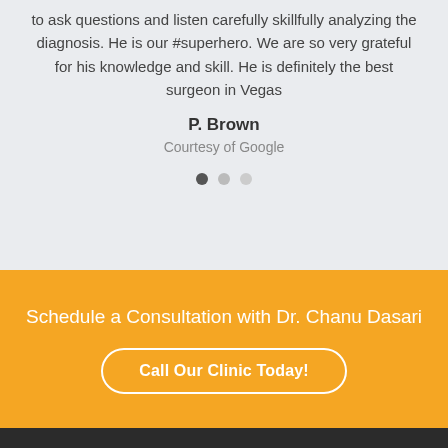to ask questions and listen carefully skillfully analyzing the diagnosis. He is our #superhero. We are so very grateful for his knowledge and skill. He is definitely the best surgeon in Vegas
P. Brown
Courtesy of Google
[Figure (other): Carousel navigation dots: three circles, first filled dark, second medium gray, third light gray]
Schedule a Consultation with Dr. Chanu Dasari
Call Our Clinic Today!